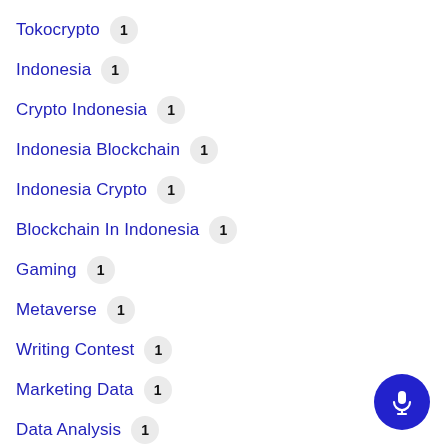Tokocrypto 1
Indonesia 1
Crypto Indonesia 1
Indonesia Blockchain 1
Indonesia Crypto 1
Blockchain In Indonesia 1
Gaming 1
Metaverse 1
Writing Contest 1
Marketing Data 1
Data Analysis 1
[Figure (illustration): Blue microphone button (circular icon) in bottom right corner]